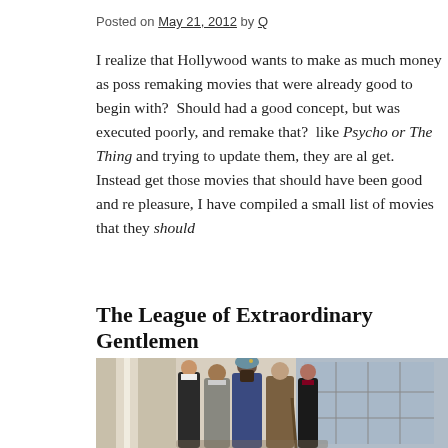Posted on May 21, 2012 by Q
I realize that Hollywood wants to make as much money as poss… remaking movies that were already good to begin with?  Should… had a good concept, but was executed poorly, and remake that?… like Psycho or The Thing and trying to update them, they are al… get. Instead get those movies that should have been good and re… pleasure, I have compiled a small list of movies that they should…
The League of Extraordinary Gentlemen
[Figure (photo): Group photo of actors in period costumes from The League of Extraordinary Gentlemen, standing in front of ornate architecture with columns and windows]